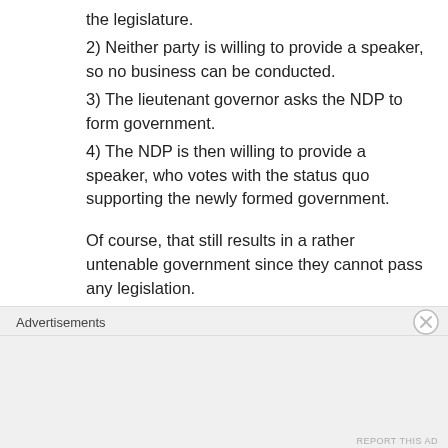the legislature.
2) Neither party is willing to provide a speaker, so no business can be conducted.
3) The lieutenant governor asks the NDP to form government.
4) The NDP is then willing to provide a speaker, who votes with the status quo supporting the newly formed government.
Of course, that still results in a rather untenable government since they cannot pass any legislation.
Like
Advertisements